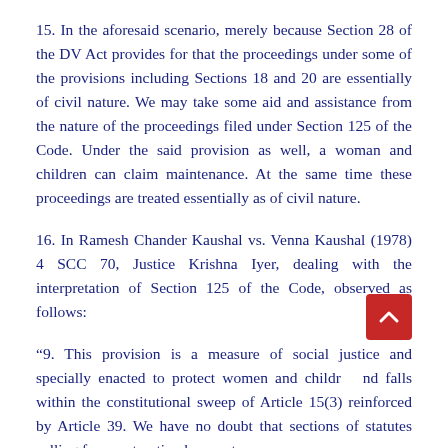15. In the aforesaid scenario, merely because Section 28 of the DV Act provides for that the proceedings under some of the provisions including Sections 18 and 20 are essentially of civil nature. We may take some aid and assistance from the nature of the proceedings filed under Section 125 of the Code. Under the said provision as well, a woman and children can claim maintenance. At the same time these proceedings are treated essentially as of civil nature.
16. In Ramesh Chander Kaushal vs. Venna Kaushal (1978) 4 SCC 70, Justice Krishna Iyer, dealing with the interpretation of Section 125 of the Code, observed as follows:
“9. This provision is a measure of social justice and specially enacted to protect women and children and falls within the constitutional sweep of Article 15(3) reinforced by Article 39. We have no doubt that sections of statutes calling for construction by courts